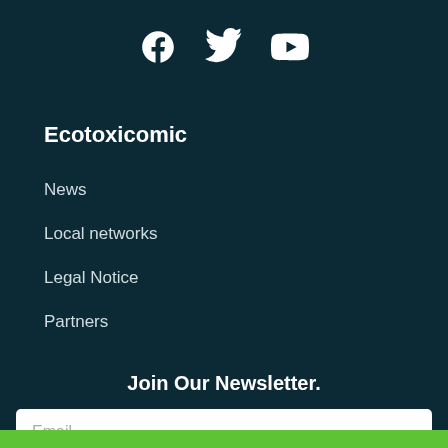[Figure (infographic): Three social media icons: Facebook (circle-f), Twitter (bird), and YouTube (play button triangle in rectangle), displayed in white on dark background]
Ecotoxicomic
News
Local networks
Legal Notice
Partners
Join Our Newsletter.
Email